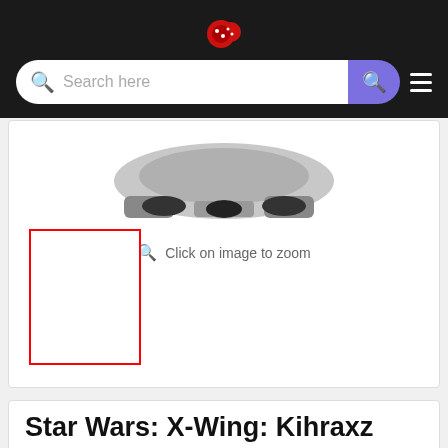[Figure (screenshot): Website navigation bar with logo and search field on dark background]
Click on image to zoom
[Figure (photo): Partial view of a Star Wars spaceship model (X-Wing Kihraxz Fighter) on white background]
[Figure (photo): Empty thumbnail image box with red border outline]
Star Wars: X-Wing: Kihraxz Fighter